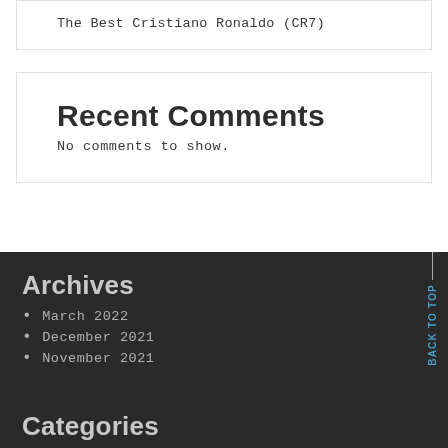The Best Cristiano Ronaldo (CR7)
Recent Comments
No comments to show.
Archives
March 2022
December 2021
November 2021
Categories
BACK TO TOP